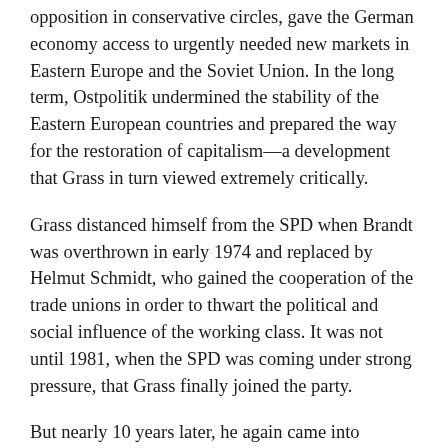opposition in conservative circles, gave the German economy access to urgently needed new markets in Eastern Europe and the Soviet Union. In the long term, Ostpolitik undermined the stability of the Eastern European countries and prepared the way for the restoration of capitalism—a development that Grass in turn viewed extremely critically.
Grass distanced himself from the SPD when Brandt was overthrown in early 1974 and replaced by Helmut Schmidt, who gained the cooperation of the trade unions in order to thwart the political and social influence of the working class. It was not until 1981, when the SPD was coming under strong pressure, that Grass finally joined the party.
But nearly 10 years later, he again came into conflict with the SPD. He opposed the euphoria surrounding the reunification process and advocated a confederation of